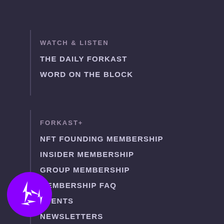WATCH & LISTEN
THE DAILY FORKAST
WORD ON THE BLOCK
FORKAST+
NFT FOUNDING MEMBERSHIP
INSIDER MEMBERSHIP
GROUP MEMBERSHIP
MEMBERSHIP FAQ
EVENTS
NEWSLETTERS
ABOUT US
OUR STORY
JOIN OUR TEAM
CONTACT
[Figure (logo): Forkast purple circular logo with white arrow/lightning bolt pattern]